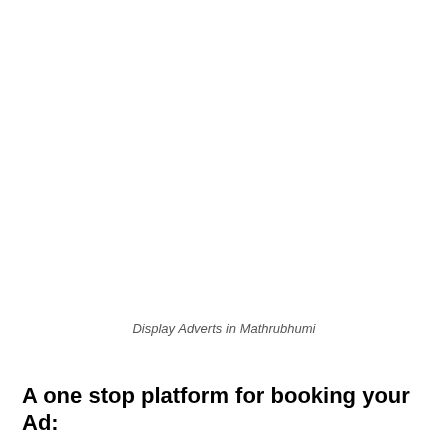Display Adverts in Mathrubhumi
A one stop platform for booking your Ad: